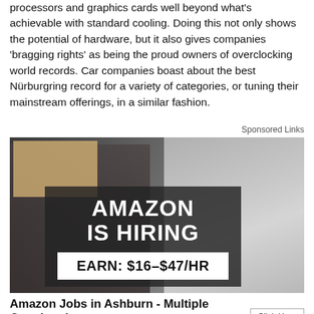processors and graphics cards well beyond what's achievable with standard cooling. Doing this not only shows the potential of hardware, but it also gives companies 'bragging rights' as being the proud owners of overclocking world records. Car companies boast about the best Nürburgring record for a variety of categories, or tuning their mainstream offerings, in a similar fashion.
Sponsored Links
[Figure (photo): An advertisement image showing a man carrying a cardboard box near a delivery van, with overlaid text reading 'AMAZON IS HIRING' and 'EARN: $16-$47/HR']
Amazon Jobs in Ashburn - Multiple Openings!
jobsinsider.net
Click Here